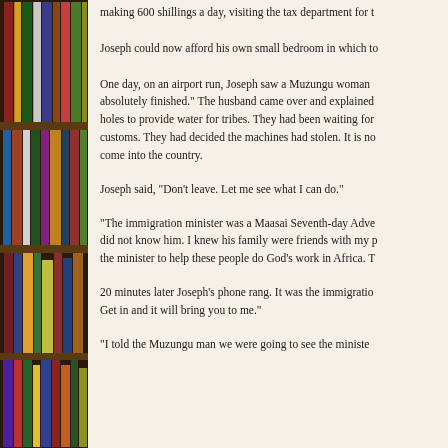[Figure (photo): Bookshelf with colorful books arranged vertically, visible on the left side of the page]
making 600 shillings a day, visiting the tax department for t
Joseph could now afford his own small bedroom in which to
One day, on an airport run, Joseph saw a Muzungu woman absolutely finished.” The husband came over and explained holes to provide water for tribes. They had been waiting for customs. They had decided the machines had stolen. It is no come into the country.
Joseph said, “Don’t leave. Let me see what I can do.”
“The immigration minister was a Maasai Seventh-day Adve did not know him. I knew his family were friends with my p the minister to help these people do God’s work in Africa. T
20 minutes later Joseph's phone rang. It was the immigratio Get in and it will bring you to me.”
“I told the Muzungu man we were going to see the ministe